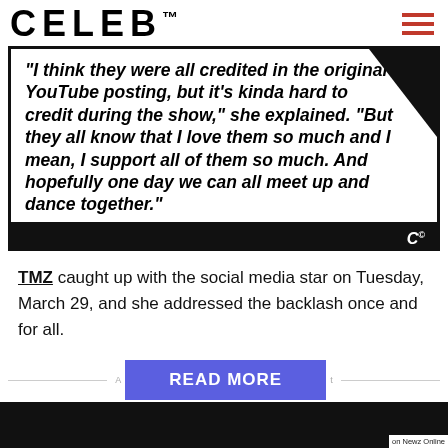CELEB™
[Figure (screenshot): Quote graphic with bold italic text on white background with black border and diagonal black corner: "I think they were all credited in the original YouTube posting, but it's kinda hard to credit during the show," she explained. "But they all know that I love them so much and I mean, I support all of them so much. And hopefully one day we can all meet up and dance together."]
TMZ caught up with the social media star on Tuesday, March 29, and she addressed the backlash once and for all.
[Figure (other): READ MORE button (blue) with horizontal rule lines and partial advertisement text, with on Newz Online badge at bottom right]